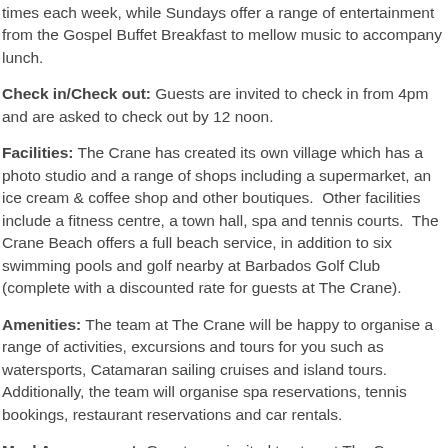times each week, while Sundays offer a range of entertainment from the Gospel Buffet Breakfast to mellow music to accompany lunch.
Check in/Check out: Guests are invited to check in from 4pm and are asked to check out by 12 noon.
Facilities: The Crane has created its own village which has a photo studio and a range of shops including a supermarket, an ice cream & coffee shop and other boutiques. Other facilities include a fitness centre, a town hall, spa and tennis courts. The Crane Beach offers a full beach service, in addition to six swimming pools and golf nearby at Barbados Golf Club (complete with a discounted rate for guests at The Crane).
Amenities: The team at The Crane will be happy to organise a range of activities, excursions and tours for you such as watersports, Catamaran sailing cruises and island tours. Additionally, the team will organise spa reservations, tennis bookings, restaurant reservations and car rentals.
Meal Arrangement: Guests are invited to stay at The Crane on a room only, bed and breakfast, half board or all-inclusive meal plan. All-inclusive comprises of breakfast, lunch, afternoon tea and dinner in a range of restaurants, often including a cuisine which includes the